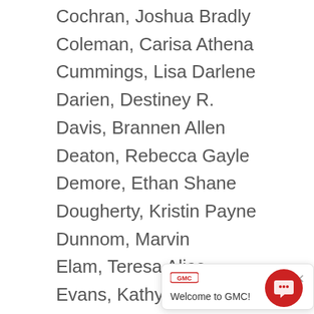Cochran, Joshua Bradly
Coleman, Carisa Athena
Cummings, Lisa Darlene
Darien, Destiney R.
Davis, Brannen Allen
Deaton, Rebecca Gayle
Demore, Ethan Shane
Dougherty, Kristin Payne
Dunnom, Marvin
Elam, Teresa Alice
Evans, Kathyrn Elizabeth
Fulmer, Ashton Le...
Gatch, Jessica Eliz...
Glessner, Victoria Leigh
Griffin, Almer
Gurley, Hannah Elizabeth
Hall, William Thomas